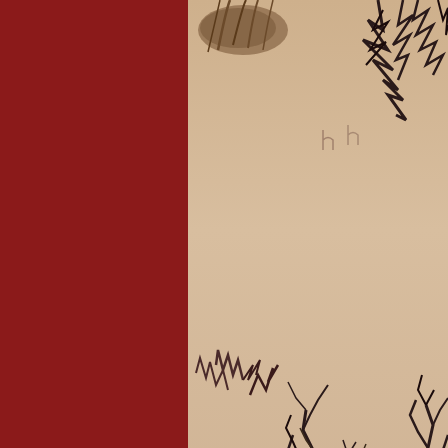[Figure (photo): Close-up photograph of desert/scrubland scene showing dry grass and dark branching shrubs (Tree Tobacco plants) in the foreground, with a warm sepia/tan tone. Silhouetted dark branches are visible against a pale sandy background.]
Photograph 11:  This image was tak... foreground are the ubiquitous Tree...